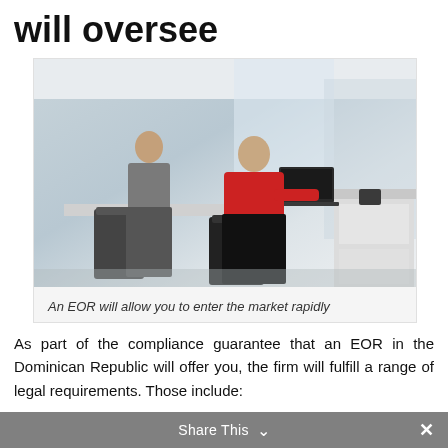will oversee
[Figure (photo): Two office workers, a man in a grey suit and a woman in a red top wearing glasses, seated at desks in a modern office with glass walls and computers.]
An EOR will allow you to enter the market rapidly
As part of the compliance guarantee that an EOR in the Dominican Republic will offer you, the firm will fulfill a range of legal requirements. Those include:
Share This ∨  ✕